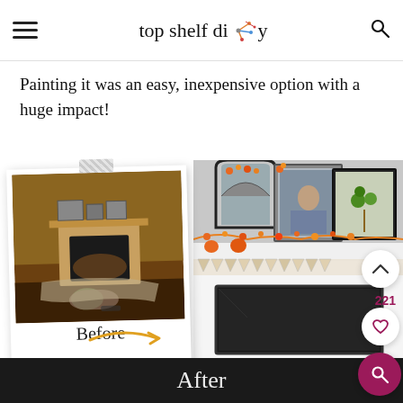top shelf diy
Painting it was an easy, inexpensive option with a huge impact!
[Figure (photo): Before and after comparison of a fireplace mantel. Left side shows a 'Before' polaroid-style photo of a dark, messy fireplace area. Right side shows an 'After' photo of a beautifully decorated white fireplace mantel with fall decorations, framed photos, and orange/autumn leaves garland. UI overlay buttons visible: chevron up, 221 count, heart icon, and pink search button.]
Before
After